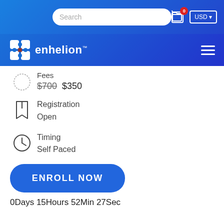enhelion
Fees $700 $350
Registration Open
Timing Self Paced
ENROLL NOW
0Days 15Hours 52Min 27Sec